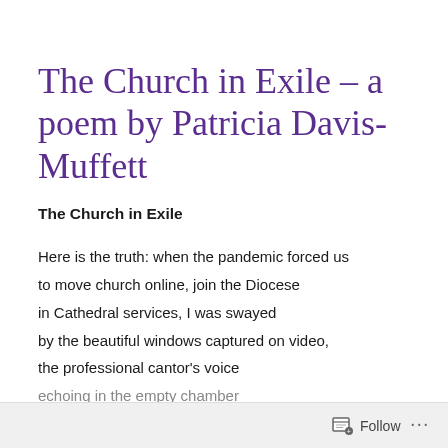The Church in Exile – a poem by Patricia Davis-Muffett
The Church in Exile
Here is the truth: when the pandemic forced us
to move church online, join the Diocese
in Cathedral services, I was swayed
by the beautiful windows captured on video,
the professional cantor's voice
echoing in the empty chamber
Follow